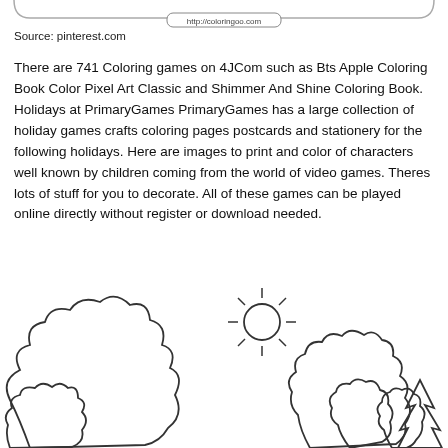[Figure (screenshot): Top portion of a rounded rectangle with a URL label 'http://coloringoo.com' visible at the bottom edge]
Source: pinterest.com
There are 741 Coloring games on 4JCom such as Bts Apple Coloring Book Color Pixel Art Classic and Shimmer And Shine Coloring Book. Holidays at PrimaryGames PrimaryGames has a large collection of holiday games crafts coloring pages postcards and stationery for the following holidays. Here are images to print and color of characters well known by children coming from the world of video games. Theres lots of stuff for you to decorate. All of these games can be played online directly without register or download needed.
[Figure (illustration): Black and white coloring page illustration showing trees, a sun with rays, bushes, and a pine/christmas tree — a nature outdoor scene line drawing]